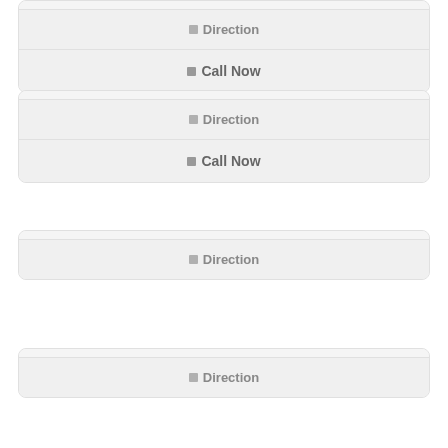[Figure (screenshot): Partial card at top with Direction and Call Now buttons]
Direction
Call Now
Direction
Call Now
Direction
Direction